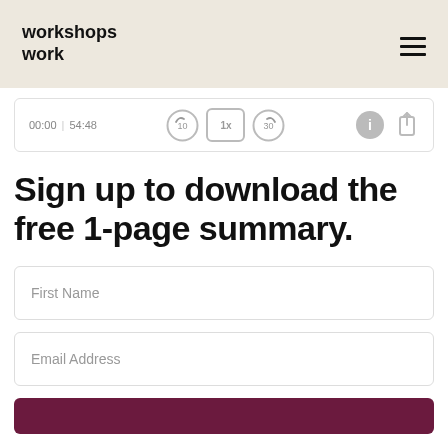workshops work
[Figure (screenshot): Audio player bar showing time 00:00 | 54:48 with playback controls: rewind 10s, 1x speed, forward 30s, info, and share icons]
Sign up to download the free 1-page summary.
First Name
Email Address